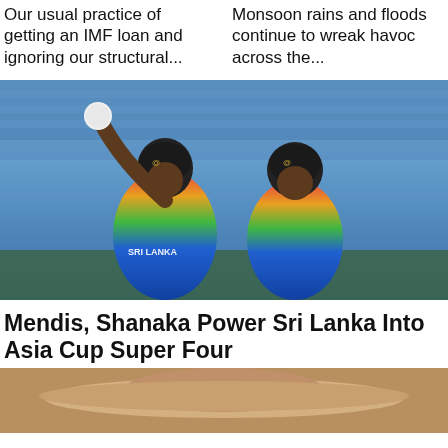Our usual practice of getting an IMF loan and ignoring our structural...
Monsoon rains and floods continue to wreak havoc across the...
[Figure (photo): Two Sri Lanka cricket players in colorful jerseys celebrating, one raising his hand, stadium seats visible in background]
Mendis, Shanaka Power Sri Lanka Into Asia Cup Super Four
[Figure (photo): Partially visible photo, appears to show a person wearing a hat, cropped at bottom of page]